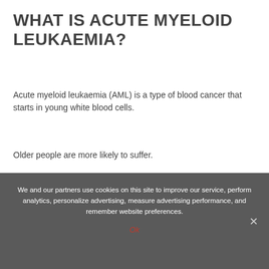WHAT IS ACUTE MYELOID LEUKAEMIA?
Acute myeloid leukaemia (AML) is a type of blood cancer that starts in young white blood cells.
Older people are more likely to suffer.
AML affects around 4.2 per 100,000 adults in the UK. Its US prevalence is unclear.
Symptoms may include:
We and our partners use cookies on this site to improve our service, perform analytics, personalize advertising, measure advertising performance, and remember website preferences.
Ok